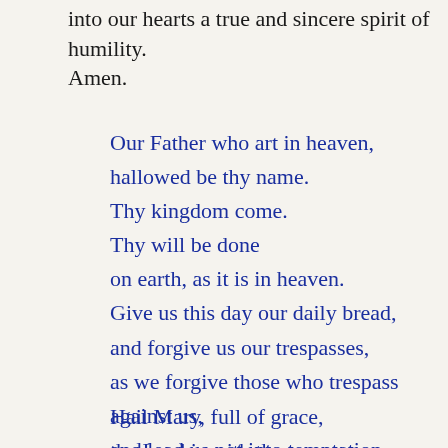into our hearts a true and sincere spirit of humility.
Amen.
Our Father who art in heaven,
hallowed be thy name.
Thy kingdom come.
Thy will be done
on earth, as it is in heaven.
Give us this day our daily bread,
and forgive us our trespasses,
as we forgive those who trespass against us,
and lead us not into temptation,
but deliver us from evil.
Amen
Hail Mary, full of grace,
the Lord is with thee.